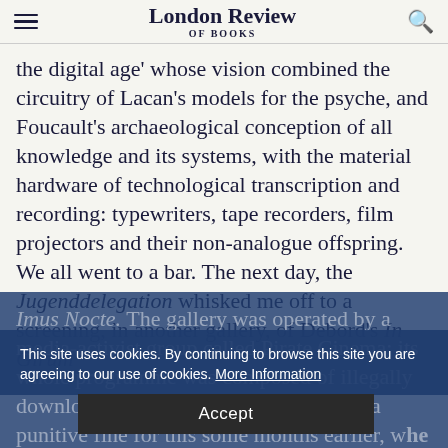London Review of Books
the digital age' whose vision combined the circuitry of Lacan's models for the psyche, and Foucault's archaeological conception of all knowledge and its systems, with the material hardware of technological transcription and recording: typewriters, tape recorders, film projectors and their non-analogue offspring. We all went to a bar. The next day, the Jugenddelegation whisked me off to a screening, in another gallery, of Debord's In Girum Imus Nocte. The gallery was operated by a media-activist group called Pirate Cinema; its whole programme was composed of illegally downloaded films. They'd been hit with a punitive fine for this some months earlier, when the German Bundeskulturstiftung had paid for them. I asked if Pirate Cinema was a sort of
This site uses cookies. By continuing to browse this site you are agreeing to our use of cookies. More Information
Accept